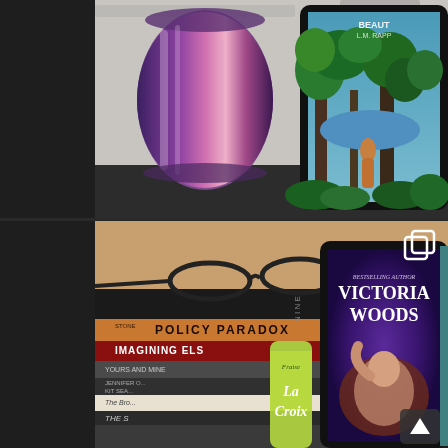[Figure (photo): Top photo: A tablet displaying a book cover (title partially visible as 'BEAUT...' by L.M. RAPP, showing a girl in a forest with lush green foliage and blue sky) propped next to an iridescent purple/rainbow metallic cup/tumbler, sitting on a dark leather surface.]
[Figure (photo): Bottom photo: A tablet displaying a book cover for a Victoria Woods novel ('BESTSELLING AUTHOR VICTORIA WOODS') showing a woman with long hair against a purple background, propped in front of a stack of books including 'Policy Paradox Third Edition' (Stone), 'Imagining Els...', 'Yours and Mine', 'Jennifer O... Kit Sea...', 'The Bro...', 'The S...', alongside a La Croix sparkling water can (Fraise flavor). A square icon (copy/multi-post indicator) is visible in the top right corner of the photo. An up-arrow navigation button is visible at the bottom right.]